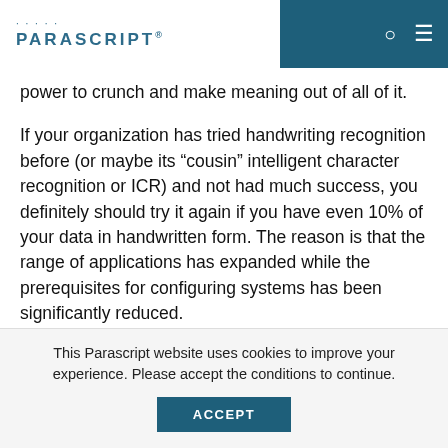PARASCRIPT
power to crunch and make meaning out of all of it.
If your organization has tried handwriting recognition before (or maybe its “cousin” intelligent character recognition or ICR) and not had much success, you definitely should try it again if you have even 10% of your data in handwritten form. The reason is that the range of applications has expanded while the prerequisites for configuring systems has been significantly reduced.
For example, only a few years ago, the best applications for handwriting recognition where those
This Parascript website uses cookies to improve your experience. Please accept the conditions to continue.
ACCEPT